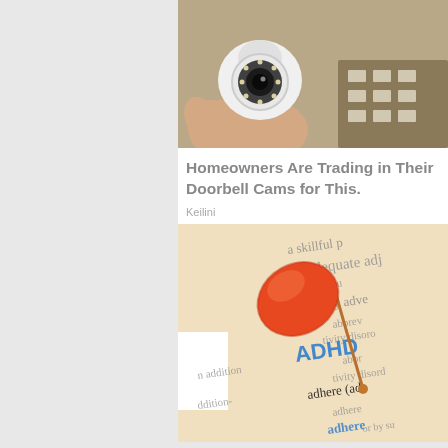[Figure (photo): A hand holding a small white security camera with LED ring around the lens, partially unboxed]
Homeowners Are Trading in Their Doorbell Cams for This.
Keilini
[Figure (photo): Close-up of a dictionary page showing the word ADHD highlighted/pinned with an orange push pin, surrounding text shows words like adequate, pasable, adverb, abbreviation, disorder, addition, adhere]